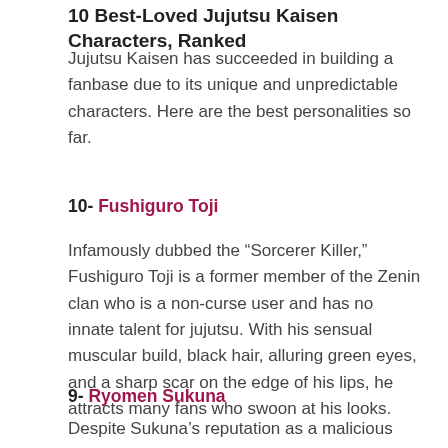10 Best-Loved Jujutsu Kaisen Characters, Ranked
Jujutsu Kaisen has succeeded in building a fanbase due to its unique and unpredictable characters. Here are the best personalities so far.
10- Fushiguro Toji
Infamously dubbed the “Sorcerer Killer,” Fushiguro Toji is a former member of the Zenin clan who is a non-curse user and has no innate talent for jujutsu. With his sensual muscular build, black hair, alluring green eyes, and a sharp scar on the edge of his lips, he attracts many fans who swoon at his looks.
9- Ryomen Sukuna
Despite Sukuna’s reputation as a malicious cursed spirit known to be the “King of Curses” who possesses